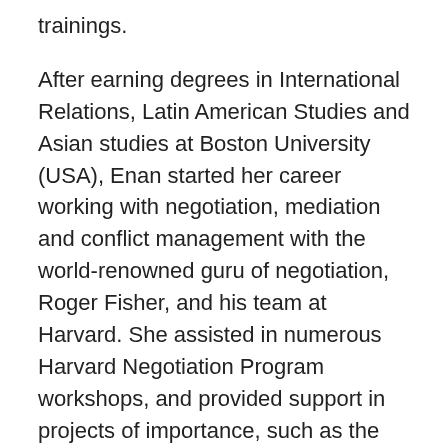trainings.
After earning degrees in International Relations, Latin American Studies and Asian studies at Boston University (USA), Enan started her career working with negotiation, mediation and conflict management with the world-renowned guru of negotiation, Roger Fisher, and his team at Harvard. She assisted in numerous Harvard Negotiation Program workshops, and provided support in projects of importance, such as the mediation of the Ecuadorian-Peruvian war of 1995, and the peace negotiations between the Colombian government and the guerilla.
Enan is a blend of several cultures and languages: born in Taiwan, raised in Argentina,